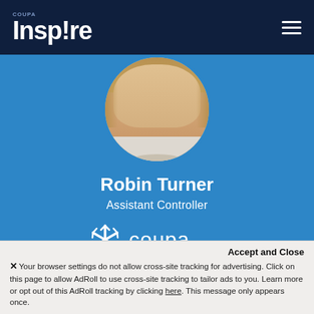COUPA Inspire
[Figure (photo): Circular profile photo of Robin Turner, a woman with long blonde hair and white top, on blue background]
Robin Turner
Assistant Controller
[Figure (logo): Coupa logo: white snowflake/asterisk icon followed by 'coupa' text in white]
[Figure (photo): Partial circular profile photo of a second person with dark brown hair, partially visible at bottom of page]
Accept and Close
✕ Your browser settings do not allow cross-site tracking for advertising. Click on this page to allow AdRoll to use cross-site tracking to tailor ads to you. Learn more or opt out of this AdRoll tracking by clicking here. This message only appears once.